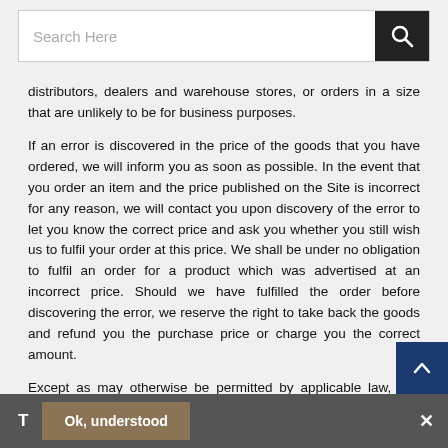[Figure (screenshot): Search bar with text input and dark search button with magnifying glass icon]
distributors, dealers and warehouse stores, or orders in a size that are unlikely to be for business purposes.
If an error is discovered in the price of the goods that you have ordered, we will inform you as soon as possible. In the event that you order an item and the price published on the Site is incorrect for any reason, we will contact you upon discovery of the error to let you know the correct price and ask you whether you still wish us to fulfil your order at this price. We shall be under no obligation to fulfil an order for a product which was advertised at an incorrect price. Should we have fulfilled the order before discovering the error, we reserve the right to take back the goods and refund you the purchase price or charge you the correct amount.
Except as may otherwise be permitted by applicable law, you may not cancel an order which Lawlor Office Supplies Ltd. has accepted without the agreement in writing from Lawlor Office Supplies Ltd. which requirement may be waived by Lawlor Office Supplies
T   Ok, understood   ✕